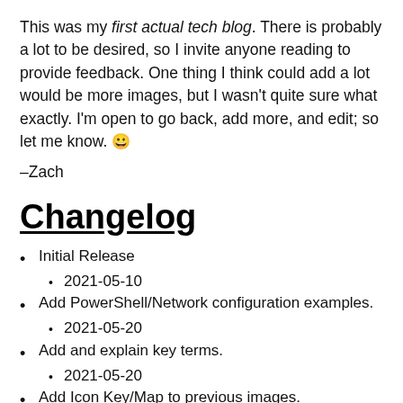This was my first actual tech blog. There is probably a lot to be desired, so I invite anyone reading to provide feedback. One thing I think could add a lot would be more images, but I wasn't quite sure what exactly. I'm open to go back, add more, and edit; so let me know. 😀
–Zach
Changelog
Initial Release
2021-05-10
Add PowerShell/Network configuration examples.
2021-05-20
Add and explain key terms.
2021-05-20
Add Icon Key/Map to previous images.